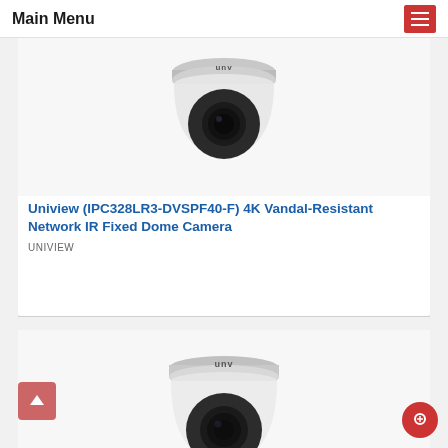Main Menu
[Figure (photo): Uniview UNV dome security camera, top-down view, white casing with black lens, seen from above]
Uniview (IPC328LR3-DVSPF40-F) 4K Vandal-Resistant Network IR Fixed Dome Camera
UNIVIEW
[Figure (photo): Uniview UNV dome security camera, partial view from slightly above, white casing with black lens, second product listing]